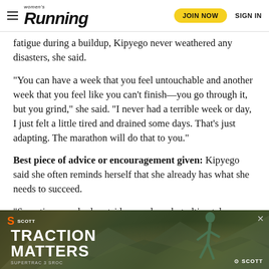Women's Running | JOIN NOW | SIGN IN
fatigue during a buildup, Kipyego never weathered any disasters, she said.
“You can have a week that you feel untouchable and another week that you feel like you can’t finish—you go through it, but you grind,” she said. “I never had a terrible week or day, I just felt a little tired and drained some days. That’s just adapting. The marathon will do that to you.”
Best piece of advice or encouragement given: Kipyego said she often reminds herself that she already has what she needs to succeed.
“Sometimes we look outside ourselves, but ultimately we already have the tools within ourselves,” she said. “That’s how I appro…have all the t…
[Figure (advertisement): SCOTT running shoes advertisement showing 'TRACTION MATTERS' text with a runner on rocky terrain, Scott Supertrac 3 shoe model, dark background with orange and green tones.]